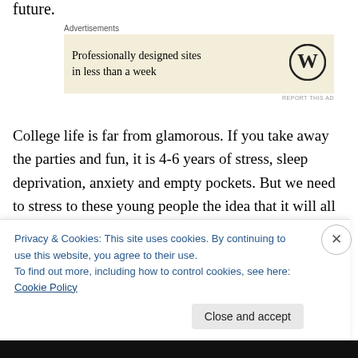future.
[Figure (other): Advertisement banner: 'Professionally designed sites in less than a week' with WordPress logo on beige background]
College life is far from glamorous. If you take away the parties and fun, it is 4-6 years of stress, sleep deprivation, anxiety and empty pockets. But we need to stress to these young people the idea that it will all pay off in time.
As for those that don't complete their degree requirements, I feel that most of the time the reason is
Privacy & Cookies: This site uses cookies. By continuing to use this website, you agree to their use.
To find out more, including how to control cookies, see here: Cookie Policy